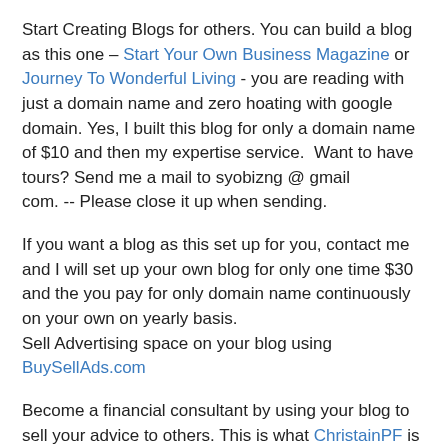Start Creating Blogs for others. You can build a blog as this one – Start Your Own Business Magazine or Journey To Wonderful Living - you are reading with just a domain name and zero hoating with google domain. Yes, I built this blog for only a domain name of $10 and then my expertise service.  Want to have tours? Send me a mail to syobizng @ gmail
com. -- Please close it up when sending.
If you want a blog as this set up for you, contact me and I will set up your own blog for only one time $30 and the you pay for only domain name continuously on your own on yearly basis.
Sell Advertising space on your blog using BuySellAds.com
Become a financial consultant by using your blog to sell your advice to others. This is what ChristainPF is doing.
Write and sell your coaching, seminar or online course on your blog
Start your own podcast